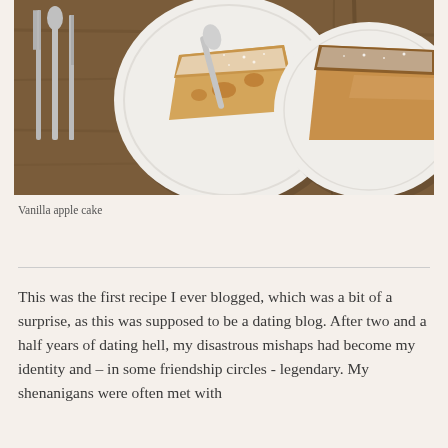[Figure (photo): Overhead view of two white plates with slices of vanilla apple cake, dusted with powdered sugar, on a rustic wooden table with silverware (fork, spoon, knife) on the left side.]
Vanilla apple cake
This was the first recipe I ever blogged, which was a bit of a surprise, as this was supposed to be a dating blog. After two and a half years of dating hell, my disastrous mishaps had become my identity and – in some friendship circles - legendary. My shenanigans were often met with